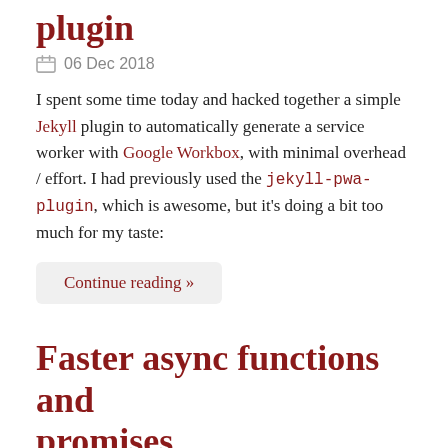plugin
06 Dec 2018
I spent some time today and hacked together a simple Jekyll plugin to automatically generate a service worker with Google Workbox, with minimal overhead / effort. I had previously used the jekyll-pwa-plugin, which is awesome, but it's doing a bit too much for my taste:
Continue reading >>
Faster async functions and promises
12 Nov 2018
Asynchronous processing in JavaScript traditionally had a reputation for not being particularly fast. To make matters